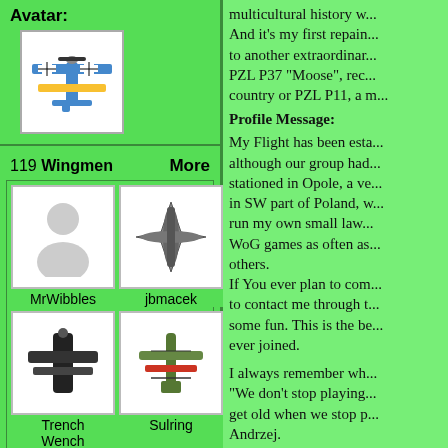Avatar:
[Figure (illustration): Avatar image of a biplane with cross markings, top-down view]
119 Wingmen    More
[Figure (illustration): Wingman grid showing: MrWibbles (person silhouette), jbmacek (fighter jet top view), Trench Wench (dark aircraft top view), Sulring (green biplane top view), Niclas (person silhouette), and two more aircraft at bottom]
multicultural history w... And it's my first repain... to another extraordinar... PZL P37 "Moose", rec... country or PZL P11, a m...
Profile Message:
My Flight has been esta... although our group had... stationed in Opole, a ve... in SW part of Poland, w... run my own small law... WoG games as often as... others.
If You ever plan to com... to contact me through t... some fun. This is the be... ever joined.
I always remember wh... "We don't stop playing... get old when we stop p... Andrzej.